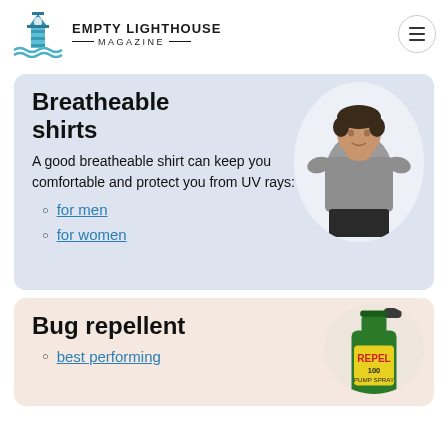EMPTY LIGHTHOUSE MAGAZINE
Breatheable shirts
A good breatheable shirt can keep you comfortable and protect you from UV rays:
for men
for women
Bug repellent
best performing